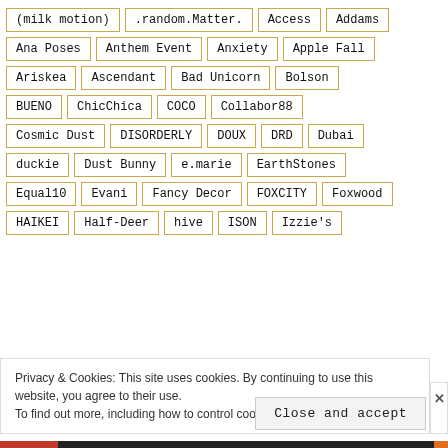(milk motion)
.random.Matter.
Access
Addams
Ana Poses
Anthem Event
Anxiety
Apple Fall
Ariskea
Ascendant
Bad Unicorn
Bolson
BUENO
ChicChica
COCO
Collabor88
Cosmic Dust
DISORDERLY
DOUX
DRD
Dubai
duckie
Dust Bunny
e.marie
EarthStones
Equal10
Evani
Fancy Decor
FOXCITY
Foxwood
HAIKEI
Half-Deer
hive
ISON
Izzie's
Privacy & Cookies: This site uses cookies. By continuing to use this website, you agree to their use. To find out more, including how to control cookies, see here: Cookie Policy
Close and accept